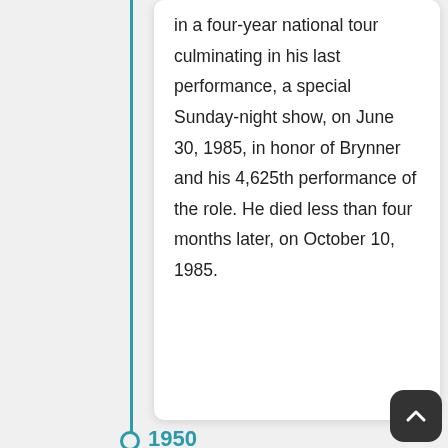in a four-year national tour culminating in his last performance, a special Sunday-night show, on June 30, 1985, in honor of Brynner and his 4,625th performance of the role. He died less than four months later, on October 10, 1985.
1950
In 1950, before he achieved fame, he was the director of a children's puppet show on CBS, Life with Snarky Parker (1950), which lasted barely eight months on the air before cancellation.
1949